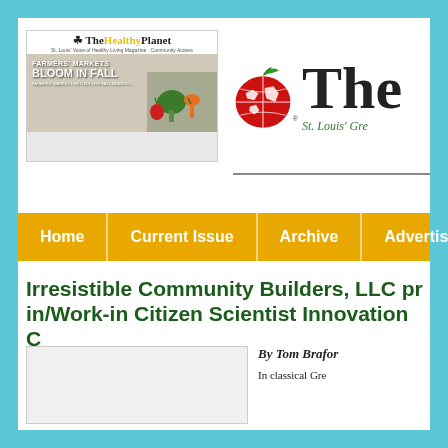[Figure (logo): The Healthy Planet newspaper cover image showing farmers markets bloom in fall headline with vegetables]
[Figure (logo): The Healthy Planet logo with globe icon and text 'The' and tagline 'St. Louis Gre...']
Home | Current Issue | Archive | Advertise
Irresistible Community Builders, LLC pr... in/Work-in Citizen Scientist Innovation C...
By Tom Brafor...
In classical Gre...